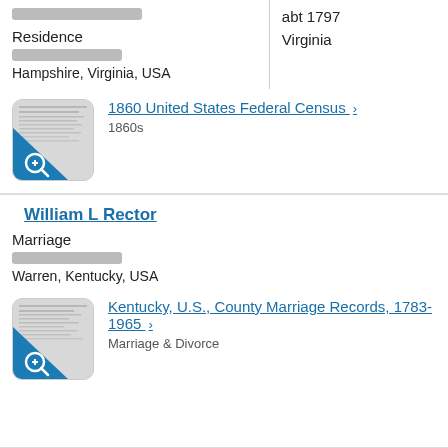Residence
Hampshire, Virginia, USA
abt 1797
Virginia
1860 United States Federal Census > 1860s
William L Rector
Marriage
Warren, Kentucky, USA
Kentucky, U.S., County Marriage Records, 1783-1965 > Marriage & Divorce